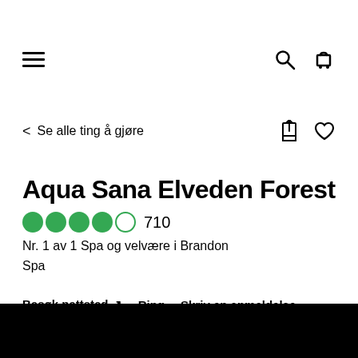Navigation bar with hamburger menu, search icon, and cart icon
< Se alle ting å gjøre
Aqua Sana Elveden Forest
●●●●○ 710
Nr. 1 av 1 Spa og velvære i Brandon
Spa
Besøk nettsted ↗  Ring  Skriv en anmeldelse